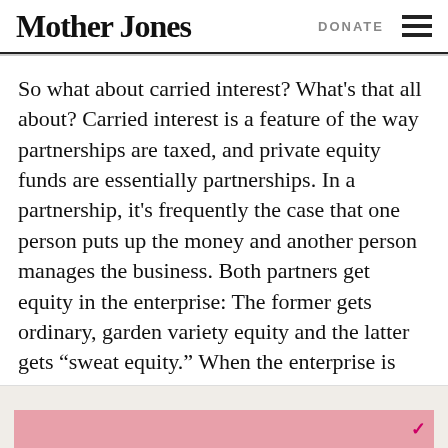Mother Jones   DONATE
So what about carried interest? What's that all about? Carried interest is a feature of the way partnerships are taxed, and private equity funds are essentially partnerships. In a partnership, it's frequently the case that one person puts up the money and another person manages the business. Both partners get equity in the enterprise: The former gets ordinary, garden variety equity and the latter gets “sweat equity.” When the enterprise is sold off (hopefully at a profit), both are taxed at capital gains rates.